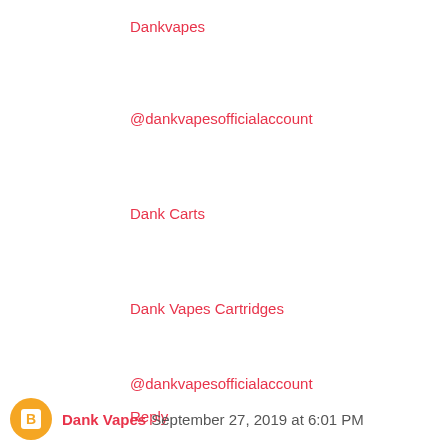Dankvapes
@dankvapesofficialaccount
Dank Carts
Dank Vapes Cartridges
@dankvapesofficialaccount
Reply
Dank Vapes September 27, 2019 at 6:01 PM